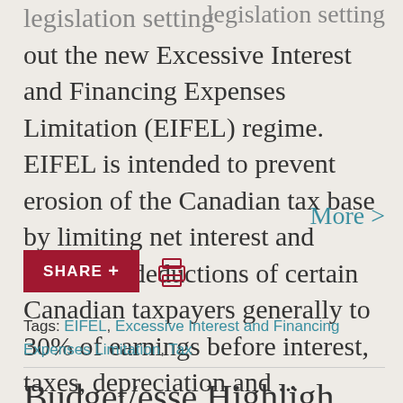legislation setting out the new Excessive Interest and Financing Expenses Limitation (EIFEL) regime. EIFEL is intended to prevent erosion of the Canadian tax base by limiting net interest and financing deductions of certain Canadian taxpayers generally to 30% of earnings before interest, taxes, depreciation and ...
More >
SHARE +
Tags: EIFEL, Excessive Interest and Financing Expenses Limitation, Tax
Budget/esse Highligh Colu...